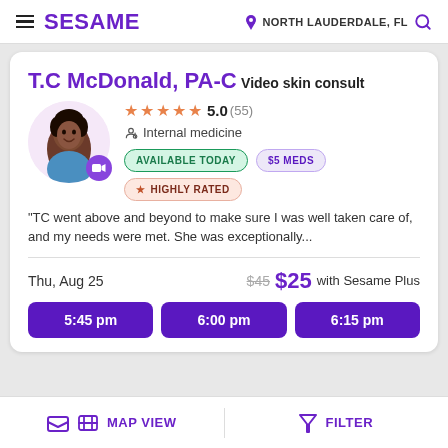SESAME | NORTH LAUDERDALE, FL
T.C McDonald, PA-C
Video skin consult
★★★★★ 5.0 (55) Internal medicine
AVAILABLE TODAY | $5 MEDS | ★ HIGHLY RATED
"TC went above and beyond to make sure I was well taken care of, and my needs were met. She was exceptionally...
Thu, Aug 25   $45  $25 with Sesame Plus
5:45 pm   6:00 pm   6:15 pm
MAP VIEW   FILTER